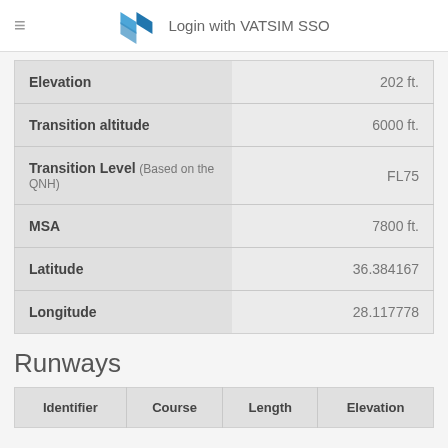≡  Login with VATSIM SSO
| Field | Value |
| --- | --- |
| Elevation | 202 ft. |
| Transition altitude | 6000 ft. |
| Transition Level (Based on the QNH) | FL75 |
| MSA | 7800 ft. |
| Latitude | 36.384167 |
| Longitude | 28.117778 |
Runways
| Identifier | Course | Length | Elevation |
| --- | --- | --- | --- |